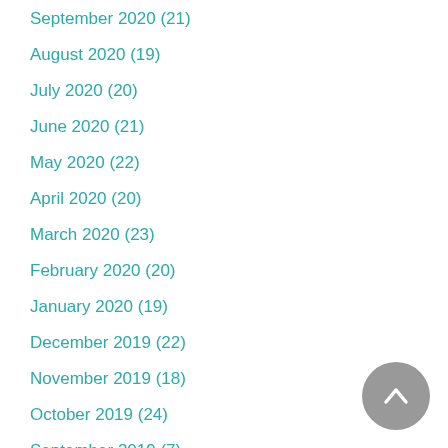September 2020 (21)
August 2020 (19)
July 2020 (20)
June 2020 (21)
May 2020 (22)
April 2020 (20)
March 2020 (23)
February 2020 (20)
January 2020 (19)
December 2019 (22)
November 2019 (18)
October 2019 (24)
September 2019 (7)
August 2019 (21)
July 2019 (23)
June 2019 (24)
[Figure (illustration): Gray circular scroll-to-top button with white upward chevron arrow]